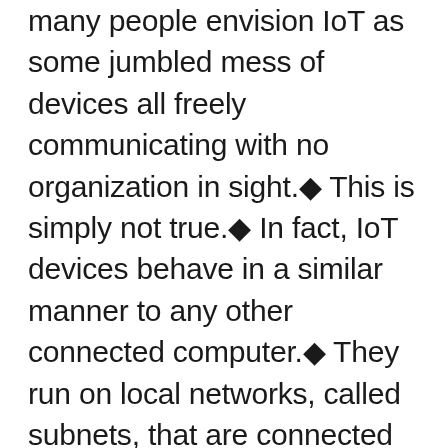many people envision IoT as some jumbled mess of devices all freely communicating with no organization in sight.◆ This is simply not true.◆ In fact, IoT devices behave in a similar manner to any other connected computer.◆ They run on local networks, called subnets, that are connected to higher and lower subnets and together form larger networks.◆ In the IoT, more so than traditional enterprises, devices tend to do most of their◆work locally with higher-level devices such as hubs connecting data between levels.